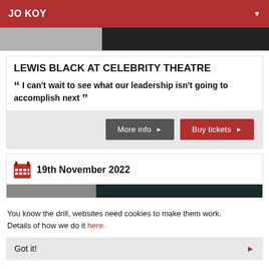JO KOY
[Figure (photo): Partial photo strip showing a person in dark attire, cropped at top]
LEWIS BLACK AT CELEBRITY THEATRE
“ I can't wait to see what our leadership isn't going to accomplish next ”
More info ►   Buy tickets ►
19th November 2022
You know the drill, websites need cookies to make them work. Details of how we do it here.
Got it!